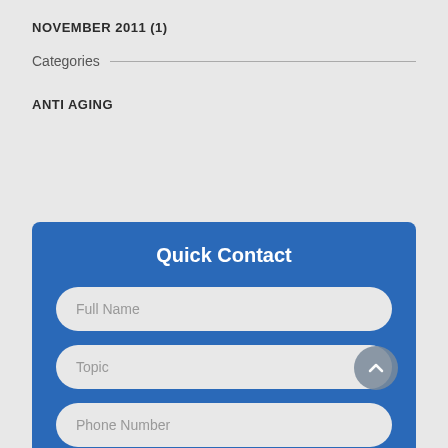NOVEMBER 2011 (1)
Categories
ANTI AGING
Quick Contact
Full Name
Topic
Phone Number
Email